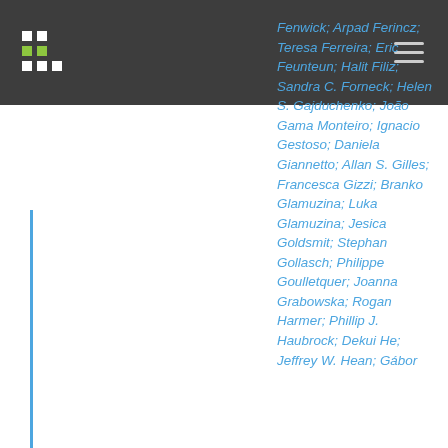Fenwick; Arpad Ferincz; Teresa Ferreira; Eric Feunteun; Halit Filiz; Sandra C. Forneck; Helen S. Gajduchenko; João Gama Monteiro; Ignacio Gestoso; Daniela Giannetto; Allan S. Gilles; Francesca Gizzi; Branko Glamuzina; Luka Glamuzina; Jesica Goldsmit; Stephan Gollasch; Philippe Goulletquer; Joanna Grabowska; Rogan Harmer; Phillip J. Haubrock; Dekui He; Jeffrey W. Hean; Gábor